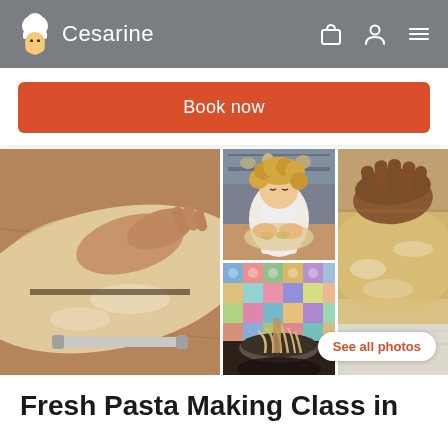Cesarine
Book now
[Figure (photo): Photo grid showing fresh pasta making class: left large photo of hands rolling pasta dough on wooden table with rolling cutter; top-right photo of blonde woman in apron working pasta dough at table; bottom-right photo of spaghetti being lifted from pan with colorful tile background; far-right tall photo of hands pressing pasta dough on floured wooden surface.]
See all photos
Fresh Pasta Making Class in